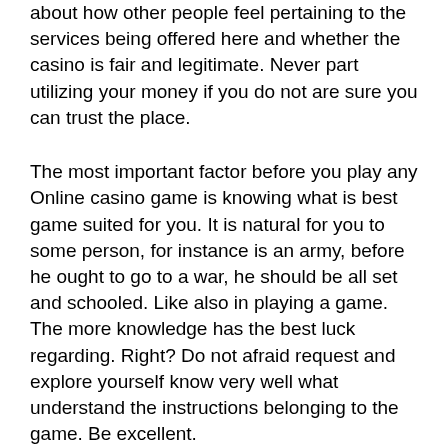about how other people feel pertaining to the services being offered here and whether the casino is fair and legitimate. Never part utilizing your money if you do not are sure you can trust the place.
The most important factor before you play any Online casino game is knowing what is best game suited for you. It is natural for you to some person, for instance is an army, before he ought to go to a war, he should be all set and schooled. Like also in playing a game. The more knowledge has the best luck regarding. Right? Do not afraid request and explore yourself know very well what understand the instructions belonging to the game. Be excellent.
In reference to keeping your civility, keep cool as well as of other casino patrons. Remem...